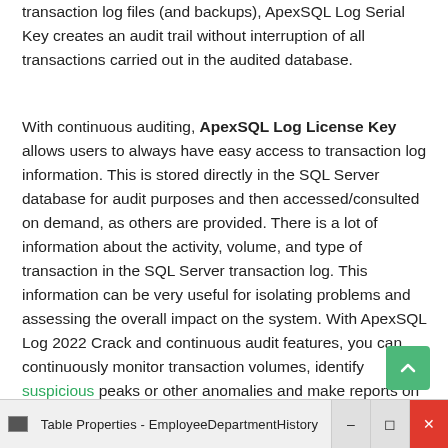transaction log files (and backups), ApexSQL Log Serial Key creates an audit trail without interruption of all transactions carried out in the audited database.
With continuous auditing, ApexSQL Log License Key allows users to always have easy access to transaction log information. This is stored directly in the SQL Server database for audit purposes and then accessed/consulted on demand, as others are provided. There is a lot of information about the activity, volume, and type of transaction in the SQL Server transaction log. This information can be very useful for isolating problems and assessing the overall impact on the system. With ApexSQL Log 2022 Crack and continuous audit features, you can continuously monitor transaction volumes, identify suspicious peaks or other anomalies and make reports on critical metrics. These include transaction volumes per server, database, table, user, etc.
[Figure (screenshot): Windows taskbar showing 'Table Properties - EmployeeDepartmentHistory' window title with minimize, restore, and close buttons]